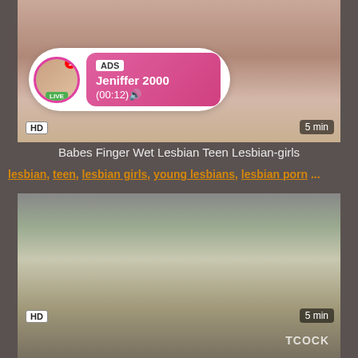[Figure (screenshot): Video thumbnail showing two women, with HD badge bottom-left and 5 min badge bottom-right, overlay ad bubble with avatar, LIVE badge, ADS label, Jeniffer 2000 name, (00:12) time, and LGALs.COM watermark]
Babes Finger Wet Lesbian Teen Lesbian-girls
lesbian, teen, lesbian girls, young lesbians, lesbian porn ...
[Figure (screenshot): Video thumbnail showing a man and woman in a bedroom, with HD badge bottom-left, 5 min badge bottom-right, and TCOCK watermark]